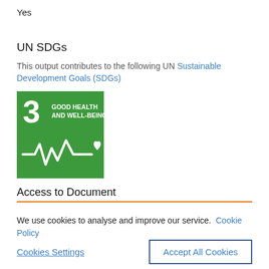Yes
UN SDGs
This output contributes to the following UN Sustainable Development Goals (SDGs)
[Figure (illustration): UN SDG Goal 3: Good Health and Well-Being badge — green square with white number 3, text 'GOOD HEALTH AND WELL-BEING', and a white heartbeat/health icon with a heart symbol]
Access to Document
We use cookies to analyse and improve our service. Cookie Policy
Cookies Settings
Accept All Cookies